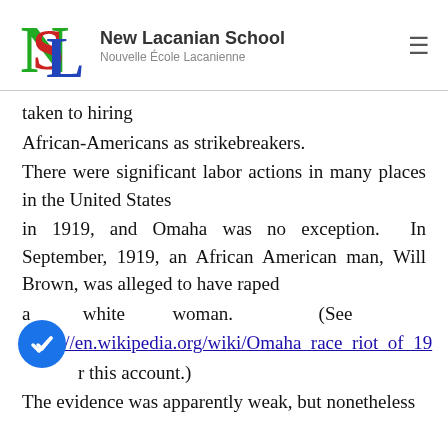New Lacanian School — Nouvelle École Lacanienne
taken to hiring African-Americans as strikebreakers. There were significant labor actions in many places in the United States in 1919, and Omaha was no exception. In September, 1919, an African American man, Will Brown, was alleged to have raped a white woman. (See https://en.wikipedia.org/wiki/Omaha_race_riot_of_19 r this account.) The evidence was apparently weak, but nonetheless